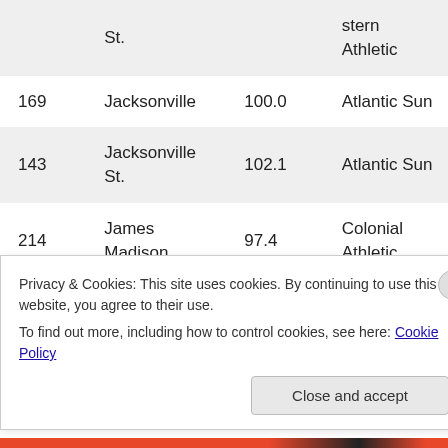| # | School | Score | Conference |
| --- | --- | --- | --- |
|  | St. |  | stern Athletic |
| 169 | Jacksonville | 100.0 | Atlantic Sun |
| 143 | Jacksonville St. | 102.1 | Atlantic Sun |
| 214 | James Madison | 97.4 | Colonial Athletic |
Privacy & Cookies: This site uses cookies. By continuing to use this website, you agree to their use.
To find out more, including how to control cookies, see here: Cookie Policy